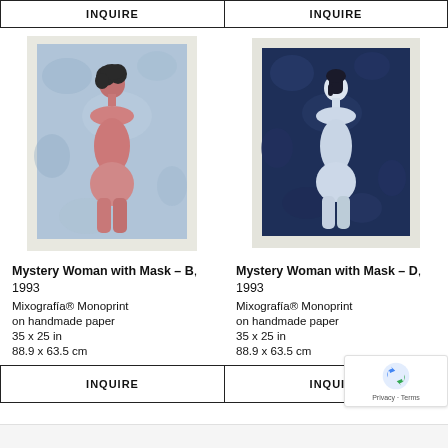[Figure (other): Button with text INQUIRE (top left)]
[Figure (other): Button with text INQUIRE (top right)]
[Figure (illustration): Mystery Woman with Mask - B: a painting/print showing a nude woman seen from behind, pink/rose tones against a blue-grey mottled background, with dark curly hair, white mat border]
Mystery Woman with Mask - B, 1993
Mixografía® Monoprint on handmade paper
35 x 25 in
88.9 x 63.5 cm
[Figure (illustration): Mystery Woman with Mask - D: a painting/print showing a nude woman seen from behind, pale/white against a dark navy blue mottled background, with dark hair, white mat border]
Mystery Woman with Mask - D, 1993
Mixografía® Monoprint on handmade paper
35 x 25 in
88.9 x 63.5 cm
[Figure (other): Button with text INQUIRE (bottom left)]
[Figure (other): Button with text INQUIRE (bottom right, partially obscured by reCAPTCHA)]